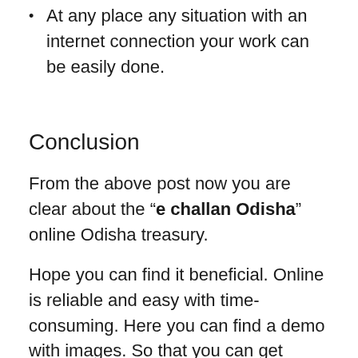At any place any situation with an internet connection your work can be easily done.
Conclusion
From the above post now you are clear about the “e challan Odisha” online Odisha treasury.
Hope you can find it beneficial. Online is reliable and easy with time-consuming. Here you can find a demo with images. So that you can get confused at any cost.